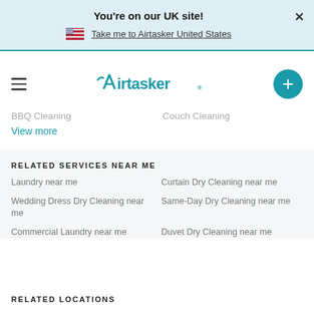You're on our UK site!
Take me to Airtasker United States
[Figure (logo): Airtasker logo with teal hamburger menu icon on left and teal plus button on right]
BBQ Cleaning    Couch Cleaning
View more
RELATED SERVICES NEAR ME
Laundry near me
Curtain Dry Cleaning near me
Wedding Dress Dry Cleaning near me
Same-Day Dry Cleaning near me
Commercial Laundry near me
Duvet Dry Cleaning near me
RELATED LOCATIONS